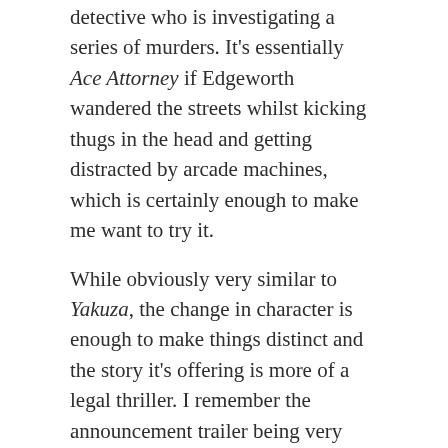detective who is investigating a series of murders. It's essentially Ace Attorney if Edgeworth wandered the streets whilst kicking thugs in the head and getting distracted by arcade machines, which is certainly enough to make me want to try it.
While obviously very similar to Yakuza, the change in character is enough to make things distinct and the story it's offering is more of a legal thriller. I remember the announcement trailer being very dramatic and, while I don't know how violent the Yakuza games got, Judgment's looking to be a rather grim title, but not without the expected silliness and over-the-top action that people loved in Yakuza.
Advertisements
[Figure (other): WooCommerce advertisement banner with purple/teal/orange geometric shapes. Text reads: 'Turn your hobby into a business in 8 steps']